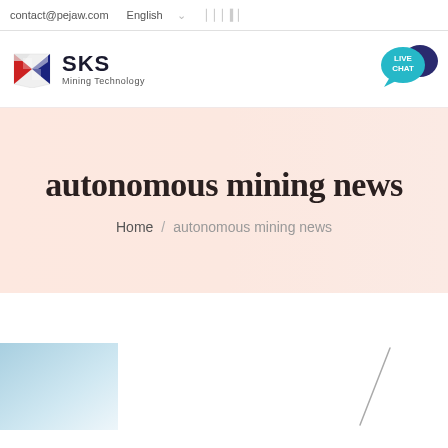contact@pejaw.com | English
[Figure (logo): SKS Mining Technology logo with red and blue arrow/shield emblem and text 'SKS Mining Technology']
[Figure (infographic): Live Chat bubble icon in teal with speech bubble graphic]
autonomous mining news
Home / autonomous mining news
[Figure (photo): Partial view of a light blue gradient image on the left and a diagonal line/graphic on the right against white background]